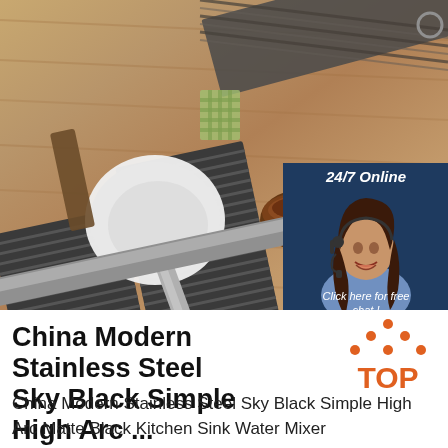[Figure (photo): Product photo of stainless steel kitchen utensils (spatula/ladle with matte black handles) on a wooden surface with a bamboo mat and a bowl of spices. Overlaid in the bottom-right corner is a customer service chat panel with a woman wearing a headset, showing '24/7 Online', 'Click here for free chat!', and an orange 'QUOTATION' button.]
China Modern Stainless Steel Sky Black Simple High Arc ...
[Figure (logo): Orange 'TOP' logo with triangular/diamond dot pattern above the text]
China Modern Stainless Steel Sky Black Simple High Arc Matte Black Kitchen Sink Water Mixer